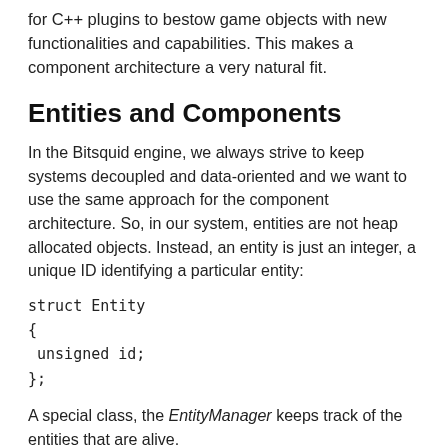for C++ plugins to bestow game objects with new functionalities and capabilities. This makes a component architecture a very natural fit.
Entities and Components
In the Bitsquid engine, we always strive to keep systems decoupled and data-oriented and we want to use the same approach for the component architecture. So, in our system, entities are not heap allocated objects. Instead, an entity is just an integer, a unique ID identifying a particular entity:
A special class, the EntityManager keeps track of the entities that are alive.
A component is not an object either. Instead, a component is something that is handled by a ComponentManager. The task of a ComponentManager is to associate entities with components. For example, the